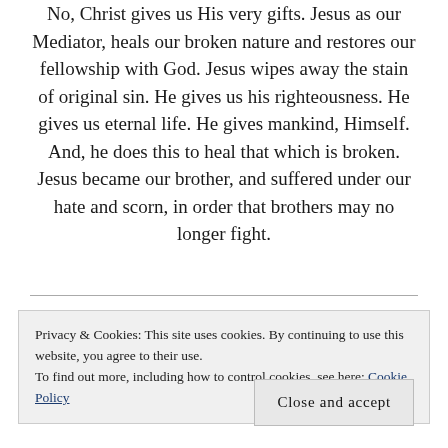No, Christ gives us His very gifts. Jesus as our Mediator, heals our broken nature and restores our fellowship with God. Jesus wipes away the stain of original sin. He gives us his righteousness. He gives us eternal life. He gives mankind, Himself. And, he does this to heal that which is broken. Jesus became our brother, and suffered under our hate and scorn, in order that brothers may no longer fight.
Christ is our hope. And, this hope is not far off, but
Privacy & Cookies: This site uses cookies. By continuing to use this website, you agree to their use.
To find out more, including how to control cookies, see here: Cookie Policy
Close and accept